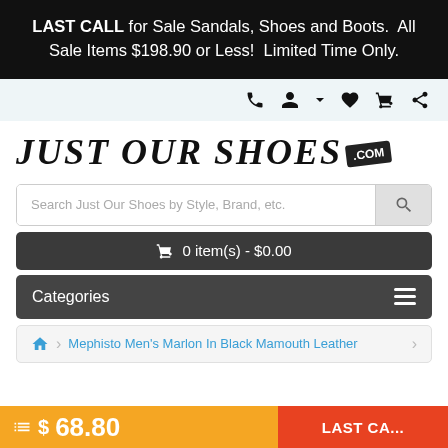LAST CALL for Sale Sandals, Shoes and Boots. All Sale Items $198.90 or Less! Limited Time Only.
[Figure (screenshot): Top navigation bar with phone, account, wishlist, cart, and share icons on light blue background]
[Figure (logo): Just Our Shoes .com logo in large italic serif font with .com in a black badge]
Search Just Our Shoes by Style, Brand, etc.
0 item(s) - $0.00
Categories
Mephisto Men's Marlon In Black Mamouth Leather
$ 68.80 LAST CA...